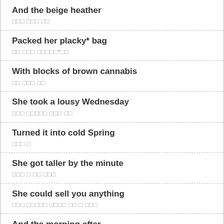And the beige heather
□□□ □□□ □□
Packed her placky* bag
□□ □□□ □□□□□*□□
With blocks of brown cannabis
□□ □□□ □□
She took a lousy Wednesday
□□□ □□□□□ □□□ □□
Turned it into cold Spring
□□□ □
She got taller by the minute
□□□ □ □□ □□□
She could sell you anything
□□□ □□□□□ □□□□ □□ □ □□□
And the morning after
□□□ □□ □□
I was quite astonished